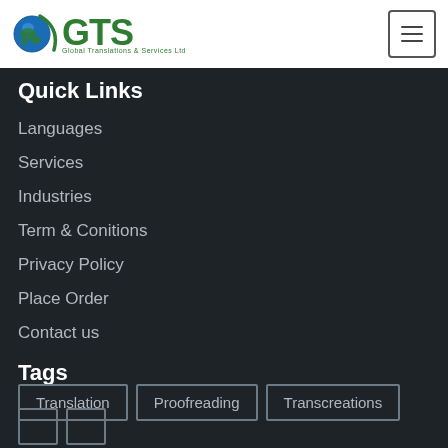[Figure (logo): GTS Global Translations & Services Ltd logo with globe icon]
Quick Links
Languages
Services
Industries
Term & Conitions
Privacy Policy
Place Order
Contact us
Tags
Translation
Proofreading
Transcreations